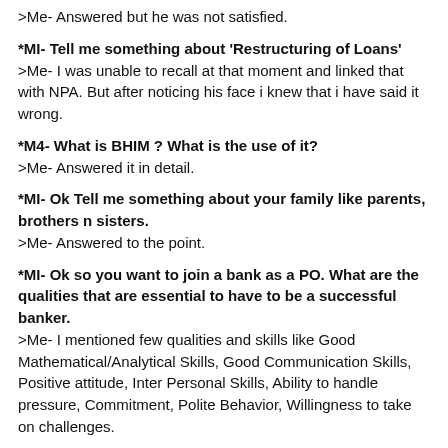>Me- Answered but he was not satisfied.
*MI- Tell me something about 'Restructuring of Loans'
>Me- I was unable to recall at that moment and linked that with NPA. But after noticing his face i knew that i have said it wrong.
*M4- What is BHIM ? What is the use of it?
>Me- Answered it in detail.
*MI- Ok Tell me something about your family like parents, brothers n sisters.
>Me- Answered to the point.
*MI- Ok so you want to join a bank as a PO. What are the qualities that are essential to have to be a successful banker.
>Me- I mentioned few qualities and skills like Good Mathematical/Analytical Skills, Good Communication Skills, Positive attitude, Inter Personal Skills, Ability to handle pressure, Commitment, Polite Behavior, Willingness to take on challenges.